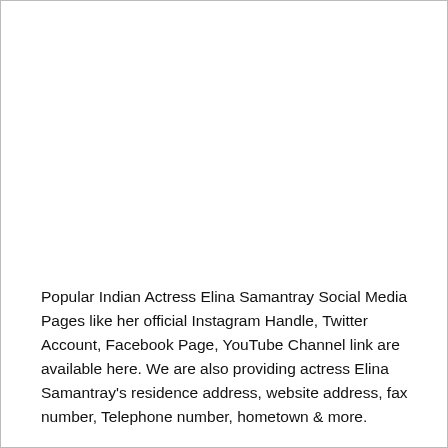Popular Indian Actress Elina Samantray Social Media Pages like her official Instagram Handle, Twitter Account, Facebook Page, YouTube Channel link are available here. We are also providing actress Elina Samantray's residence address, website address, fax number, Telephone number, hometown & more.